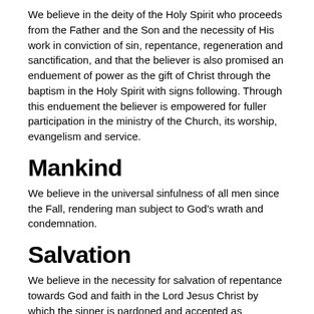We believe in the deity of the Holy Spirit who proceeds from the Father and the Son and the necessity of His work in conviction of sin, repentance, regeneration and sanctification, and that the believer is also promised an enduement of power as the gift of Christ through the baptism in the Holy Spirit with signs following. Through this enduement the believer is empowered for fuller participation in the ministry of the Church, its worship, evangelism and service.
Mankind
We believe in the universal sinfulness of all men since the Fall, rendering man subject to God's wrath and condemnation.
Salvation
We believe in the necessity for salvation of repentance towards God and faith in the Lord Jesus Christ by which the sinner is pardoned and accepted as righteous in God's sight. This justification is imputed by the grace of God because of the atoning work of Christ, is received by faith alone and is evidenced by the Fruit of the Spirit and a holy life.